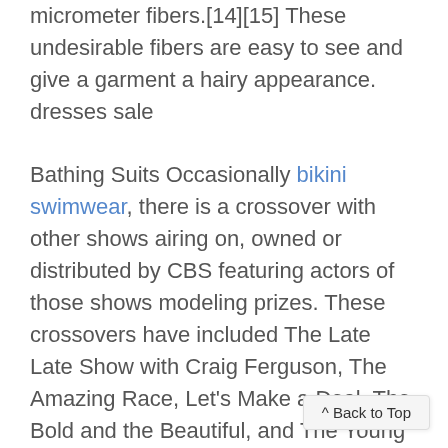micrometer fibers.[14][15] These undesirable fibers are easy to see and give a garment a hairy appearance. dresses sale
Bathing Suits Occasionally bikini swimwear, there is a crossover with other shows airing on, owned or distributed by CBS featuring actors of those shows modeling prizes. These crossovers have included The Late Late Show with Craig Ferguson, The Amazing Race, Let's Make a Deal, The Bold and the Beautiful, and The Young and the Restless. Tiffany Coyne (from Let's Make a Deal) filled in as the fifth model on some episodes which aired in March 2011. Bathing Suits